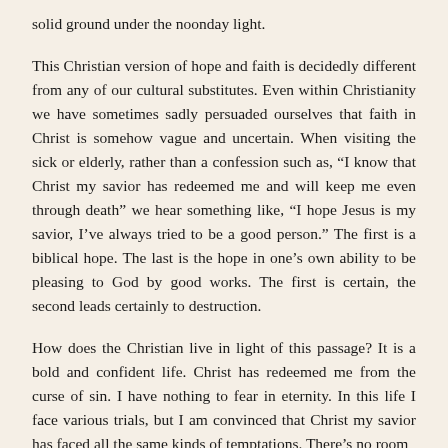solid ground under the noonday light.
This Christian version of hope and faith is decidedly different from any of our cultural substitutes. Even within Christianity we have sometimes sadly persuaded ourselves that faith in Christ is somehow vague and uncertain. When visiting the sick or elderly, rather than a confession such as, “I know that Christ my savior has redeemed me and will keep me even through death” we hear something like, “I hope Jesus is my savior, I’ve always tried to be a good person.” The first is a biblical hope. The last is the hope in one’s own ability to be pleasing to God by good works. The first is certain, the second leads certainly to destruction.
How does the Christian live in light of this passage? It is a bold and confident life. Christ has redeemed me from the curse of sin. I have nothing to fear in eternity. In this life I face various trials, but I am convinced that Christ my savior has faced all the same kinds of temptations. There’s no room